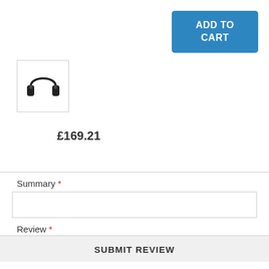[Figure (screenshot): Blue 'ADD TO CART' button in upper right]
[Figure (photo): Product image of black over-ear headphones in a white bordered box]
£169.21
Summary *
[Figure (screenshot): Empty text input field for Summary]
Review *
[Figure (screenshot): Empty textarea input field for Review]
SUBMIT REVIEW